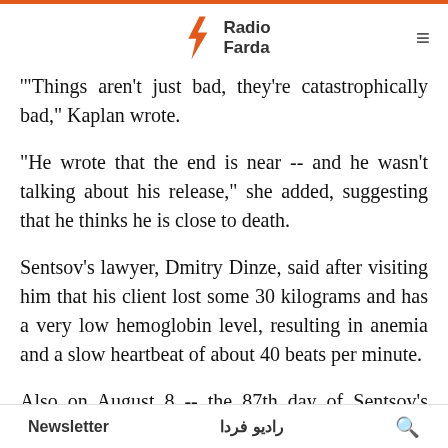Radio Farda
'"Things aren't just bad, they're catastrophically bad," Kaplan wrote.'
"He wrote that the end is near -- and he wasn't talking about his release," she added, suggesting that he thinks he is close to death.
Sentsov's lawyer, Dmitry Dinze, said after visiting him that his client lost some 30 kilograms and has a very low hemoglobin level, resulting in anemia and a slow heartbeat of about 40 beats per minute.
Also on August 8 -- the 87th day of Sentsov's hunger strike -- a large banner demanding the
Newsletter    رادیو فردا    🔍